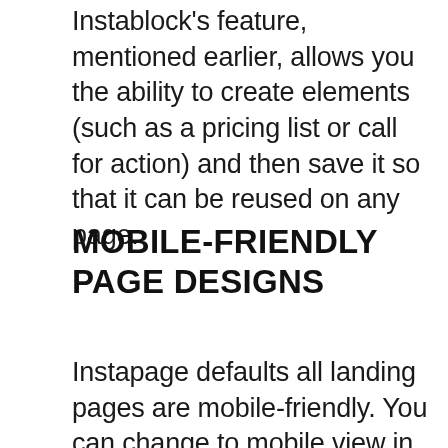Instablock's feature, mentioned earlier, allows you the ability to create elements (such as a pricing list or call for action) and then save it so that it can be reused on any page.
MOBILE-FRIENDLY PAGE DESIGNS
Instapage defaults all landing pages are mobile-friendly. You can change to mobile view in the editor and make any changes only mobile users can see.
[Figure (screenshot): Screenshot of a web editor toolbar with CREATE A/B TEST, Show hidden toggle, UPDATE button, and a content area showing a SPECIFY badge with a todo label.]